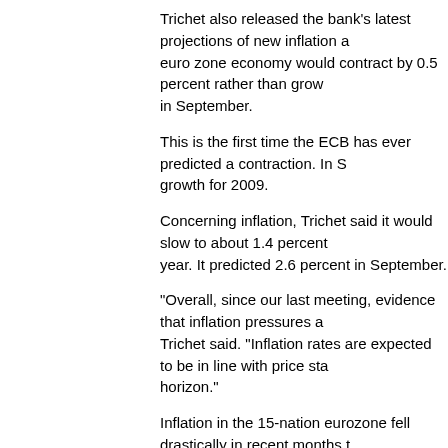Trichet also released the bank's latest projections of new inflation and the euro zone economy would contract by 0.5 percent rather than grow in September.
This is the first time the ECB has ever predicted a contraction. In September it predicted growth for 2009.
Concerning inflation, Trichet said it would slow to about 1.4 percent next year. It predicted 2.6 percent in September.
"Overall, since our last meeting, evidence that inflation pressures are abating," Trichet said. "Inflation rates are expected to be in line with price stability over the relevant horizon."
Inflation in the 15-nation eurozone fell drastically in recent months though it had hit a record high of 4 percent in July due to rocketing oil and food prices.
The bank sets the target in inflation in the zone at 2 percent to keep prices stable.
Amid deep financial crisis, rates reduction were big around the world recently.
The Bank of England axed rates by 1.5 percent a month ago. The US, EU, Canada and Switzerland all repeated cuts recently.